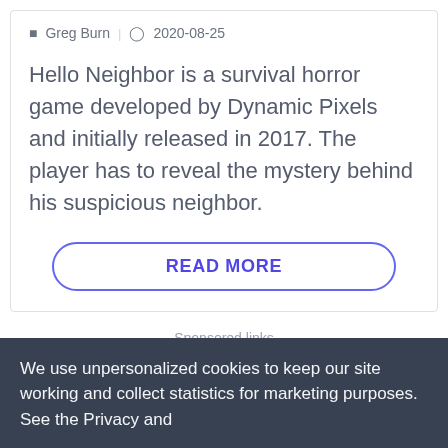Greg Burn | 2020-08-25
Hello Neighbor is a survival horror game developed by Dynamic Pixels and initially released in 2017. The player has to reveal the mystery behind his suspicious neighbor.
READ MORE
Sponsored links
We use unpersonalized cookies to keep our site working and collect statistics for marketing purposes. See the Privacy and